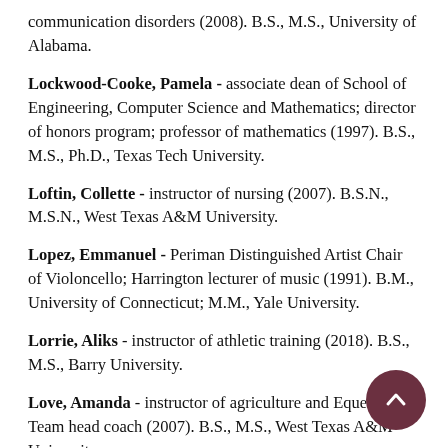communication disorders (2008). B.S., M.S., University of Alabama.
Lockwood-Cooke, Pamela - associate dean of School of Engineering, Computer Science and Mathematics; director of honors program; professor of mathematics (1997). B.S., M.S., Ph.D., Texas Tech University.
Loftin, Collette - instructor of nursing (2007). B.S.N., M.S.N., West Texas A&M University.
Lopez, Emmanuel - Periman Distinguished Artist Chair of Violoncello; Harrington lecturer of music (1991). B.M., University of Connecticut; M.M., Yale University.
Lorrie, Aliks - instructor of athletic training (2018). B.S., M.S., Barry University.
Love, Amanda - instructor of agriculture and Equestrian Team head coach (2007). B.S., M.S., West Texas A&M University.